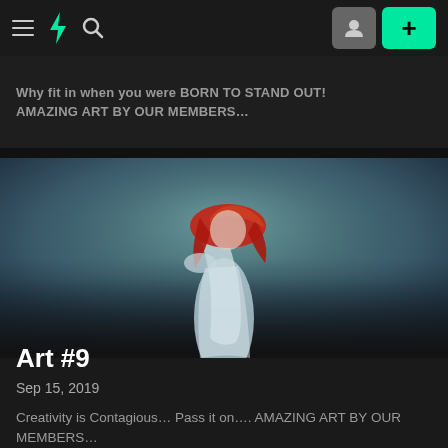DeviantArt navigation bar with hamburger menu, logo, search icon, profile button, and add button
Why fit in when you were BORN TO STAND OUT! AMAZING ART BY OUR MEMBERS…
[Figure (illustration): Digital painting of a woman with long red hair wearing a white flowing garment, head bowed, on a teal-grey background]
Art #9
Sep 15, 2019
Creativity is Contagious… Pass it on…. AMAZING ART BY OUR MEMBERS…